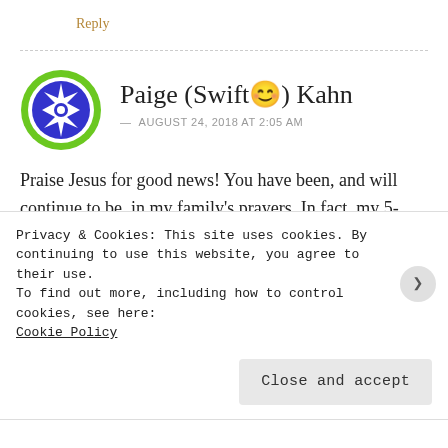Reply
Paige (Swift😊) Kahn — AUGUST 24, 2018 AT 2:05 AM
Praise Jesus for good news! You have been, and will continue to be, in my family's prayers. In fact, my 5-year-old listed your name tonight as one of his prayer requests.
Privacy & Cookies: This site uses cookies. By continuing to use this website, you agree to their use.
To find out more, including how to control cookies, see here: Cookie Policy